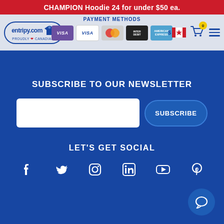CHAMPION Hoodie 24 for under $50 ea.
[Figure (screenshot): Navigation bar with entripy.com logo (proudly Canadian), payment method cards (Visa, Mastercard, Interac Debit, American Express), Canadian dollar flag selector, shopping cart with 0 badge, and hamburger menu]
SUBSCRIBE TO OUR NEWSLETTER
[Figure (other): Email input field (white rectangle) and SUBSCRIBE button (blue rounded)]
LET'S GET SOCIAL
[Figure (other): Social media icons: Facebook, Twitter, Instagram, LinkedIn, YouTube, Pinterest]
[Figure (other): Chat button circle in bottom right corner]